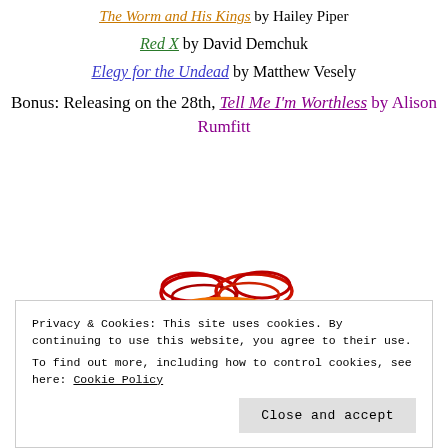The Worm and His Kings by Hailey Piper
Red X by David Demchuk
Elegy for the Undead by Matthew Vesely
Bonus: Releasing on the 28th, Tell Me I'm Worthless by Alison Rumfitt
[Figure (illustration): Colorful abstract scribble illustration in red, orange, and dark red swirling loops resembling a stylized face or logo]
Privacy & Cookies: This site uses cookies. By continuing to use this website, you agree to their use. To find out more, including how to control cookies, see here: Cookie Policy